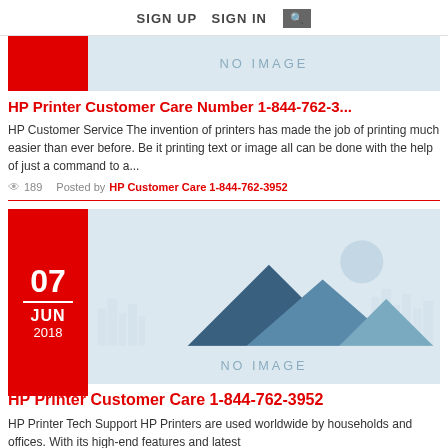SIGN UP   SIGN IN  🔍
[Figure (illustration): No image placeholder with red block on left]
HP Printer Customer Care Number 1-844-762-3...
HP Customer Service The invention of printers has made the job of printing much easier than ever before. Be it printing text or image all can be done with the help of just a command to a...
👁 189   Posted by HP Customer Care 1-844-762-3952
[Figure (illustration): Date badge showing 07 JUN 2018 on red background, with no-image mountain landscape placeholder on right]
HP Printer Customer Care 1-844-762-3952
HP Printer Tech Support HP Printers are used worldwide by households and offices. With its high-end features and latest